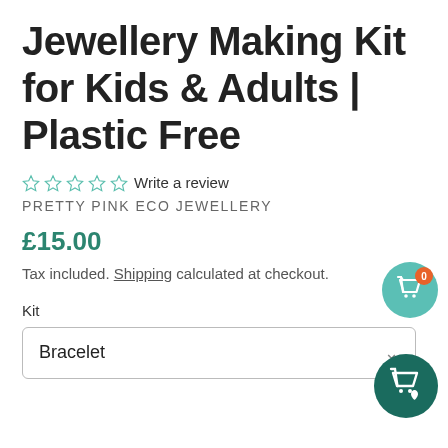Jewellery Making Kit for Kids & Adults | Plastic Free
☆☆☆☆☆ Write a review
PRETTY PINK ECO JEWELLERY
£15.00
Tax included. Shipping calculated at checkout.
Kit
Bracelet